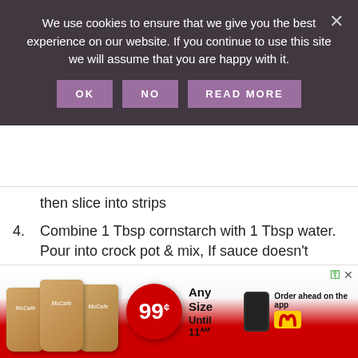We use cookies to ensure that we give you the best experience on our website. If you continue to use this site we will assume that you are happy with it.
then slice into strips
4. Combine 1 Tbsp cornstarch with 1 Tbsp water. Pour into crock pot & mix, If sauce doesn't thicken, add one more Tbsp of cornstarch and water
5. Place chicken back in crock pot and stir around to coat
6. Serve over rice, sprinkle with sesame seeds.
[Figure (photo): McDonald's McCafe advertisement showing three iced coffee drinks and a 99 cent any size until 11AM promotion with order on app option]